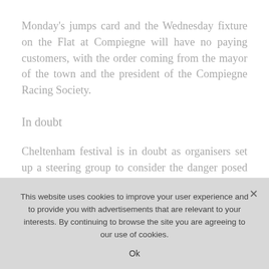Monday's jumps card and the Wednesday fixture on the Flat at Compiegne will have no paying customers, with the order coming from the mayor of the town and the president of the Compiegne Racing Society.
In doubt
Cheltenham festival is in doubt as organisers set up a steering group to consider the danger posed by the virus, just 12 days prior to the prestigious
This website uses cookies to improve your user experience and to provide you with advertisements that are relevant to your interests. By continuing to browse the site you are agreeing to our use of cookies.
Ok